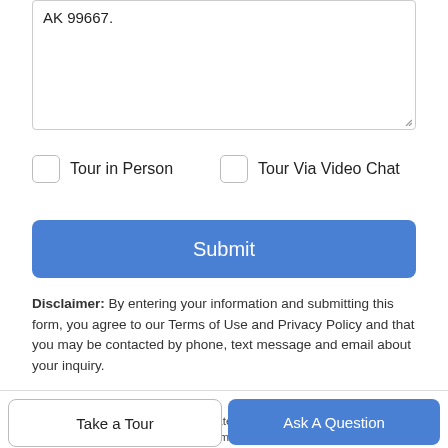AK 99667.
Tour in Person
Tour Via Video Chat
Submit
Disclaimer: By entering your information and submitting this form, you agree to our Terms of Use and Privacy Policy and that you may be contacted by phone, text message and email about your inquiry.
DISCLAIMER: The listing content relating to real estate for sale on this web site comes in part from the IDX Program of Alaska Multiple Listing Service, Inc. (AK
Take a Tour
Ask A Question